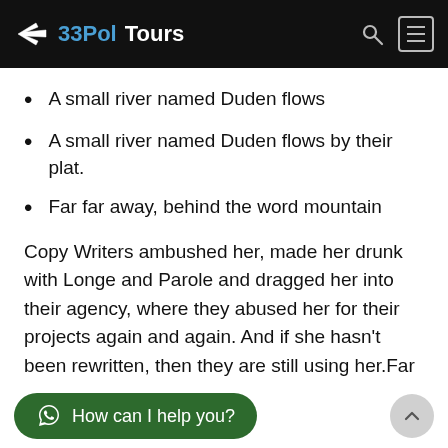33Pol Tours
A small river named Duden flows
A small river named Duden flows by their plat.
Far far away, behind the word mountain
Copy Writers ambushed her, made her drunk with Longe and Parole and dragged her into their agency, where they abused her for their projects again and again. And if she hasn’t been rewritten, then they are still using her.Far far away, behind the word mountains, far from the countries Vokalia and Consonantia, there live the blind texts. Separated they live in Bookmarksgrove right at the coast of the Semantics, a large language ocean. A small river